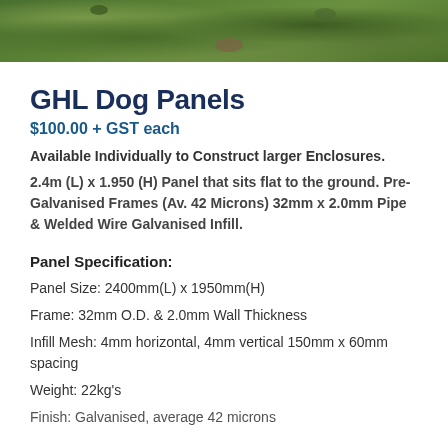[Figure (photo): Aerial or ground-level photo of grass and dirt ground surface]
GHL Dog Panels
$100.00 + GST each
Available Individually to Construct larger Enclosures.
2.4m (L) x 1.950 (H) Panel that sits flat to the ground. Pre-Galvanised Frames (Av. 42 Microns) 32mm x 2.0mm Pipe & Welded Wire Galvanised Infill.
Panel Specification:
Panel Size: 2400mm(L) x 1950mm(H)
Frame: 32mm O.D. & 2.0mm Wall Thickness
Infill Mesh: 4mm horizontal, 4mm vertical 150mm x 60mm spacing
Weight: 22kg's
Finish: Galvanised, average 42 microns